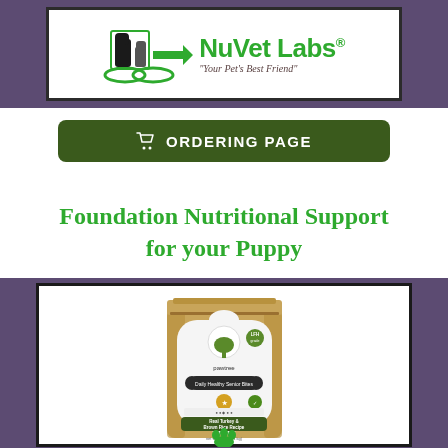[Figure (logo): NuVet Labs logo with dog and cat silhouettes, green arrow, tagline 'Your Pet's Best Friend']
[Figure (other): Green 'ORDERING PAGE' button with shopping cart icon]
Foundation Nutritional Support for your Puppy
[Figure (photo): PawTree brand dog food bag - Real Turkey & Brown Rice Recipe, shown in kraft paper bag with white label, green tree logo]